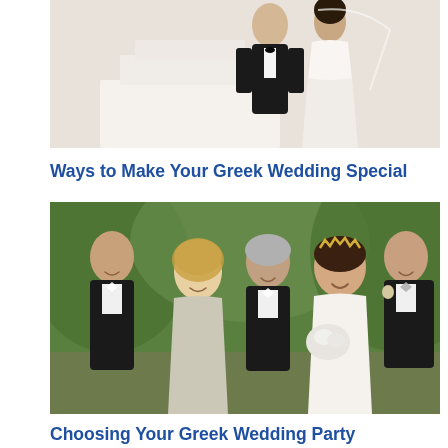[Figure (photo): Wedding cake topper figurines — a groom in a black tuxedo and a bride in a white dress standing on a white wedding cake]
Ways to Make Your Greek Wedding Special
[Figure (photo): Group photo of a wedding party smiling outdoors — two men in tuxedos on the left, an older man in the center, a bride wearing a tiara holding white flowers, and another man in a tuxedo on the right]
Choosing Your Greek Wedding Party